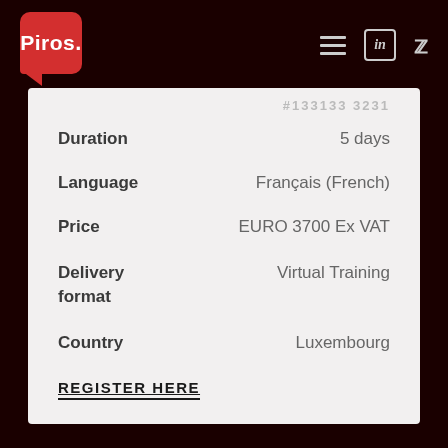Piros.
#133133 3231
| Field | Value |
| --- | --- |
| Duration | 5 days |
| Language | Français (French) |
| Price | EURO 3700 Ex VAT |
| Delivery format | Virtual Training |
| Country | Luxembourg |
REGISTER HERE